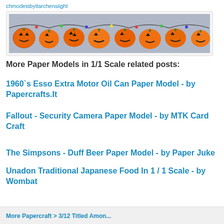chmodeisbyitarchensiight
[Figure (photo): A horizontal banner image showing a string of orange jack-o-lantern pumpkin decorations against a grey background]
More Paper Models in 1/1 Scale related posts:
1960`s Esso Extra Motor Oil Can Paper Model - by Papercrafts.It
Fallout - Security Camera Paper Model - by MTK Card Craft
The Simpsons - Duff Beer Paper Model - by Paper Juke
Unadon Traditional Japanese Food In 1 / 1 Scale - by Wombat
More Papercraft > 3/12 Titled Amon...